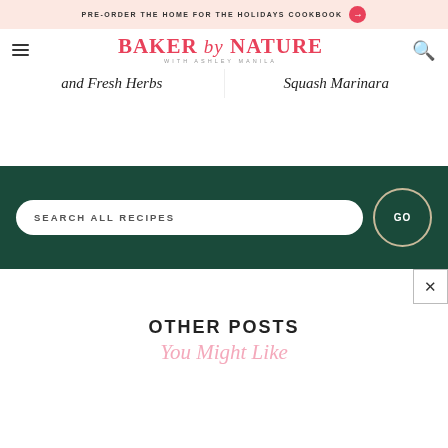PRE-ORDER THE HOME FOR THE HOLIDAYS COOKBOOK →
BAKER by NATURE WITH ASHLEY MANILA
and Fresh Herbs
Squash Marinara
SEARCH ALL RECIPES   GO
OTHER POSTS
You Might Like